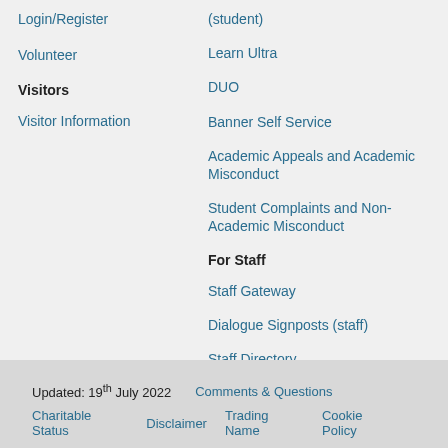Login/Register
Volunteer
Visitors
Visitor Information
(student)
Learn Ultra
DUO
Banner Self Service
Academic Appeals and Academic Misconduct
Student Complaints and Non-Academic Misconduct
For Staff
Staff Gateway
Dialogue Signposts (staff)
Staff Directory
Updated: 19th July 2022   Comments & Questions   Charitable Status   Disclaimer   Trading Name   Cookie Policy   Privacy Notices